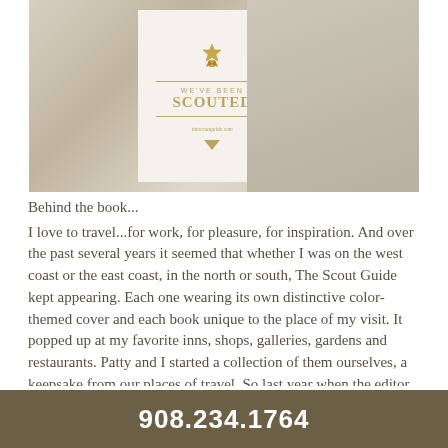[Figure (photo): Photo of a smiling older man in a white shirt leaning against a doorway, next to a sign that reads 'WE'VE BEEN SCOUTED' with a gold ribbon icon and thescoutguide.com URL]
Behind the book...
I love to travel...for work, for pleasure, for inspiration.  And over the past several years it seemed that whether I was on the west coast or the east coast, in the north or south, The Scout Guide kept appearing.  Each one wearing its own distinctive color-themed cover and each book unique to the place of my visit.  It popped up at my favorite inns, shops, galleries, gardens and restaurants.  Patty and I started a collection of them ourselves, a keepsake from our places of travel. So last year when the editor of the first edition of the Northern New Jersey Scout Guide approached me to tell us that we had been
908.234.1764